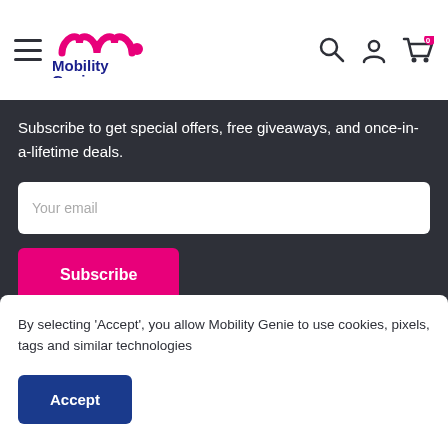Mobility Genie
Subscribe to get special offers, free giveaways, and once-in-a-lifetime deals.
Your email
Subscribe
Ireland (EUR €)
By selecting 'Accept', you allow Mobility Genie to use cookies, pixels, tags and similar technologies
Accept